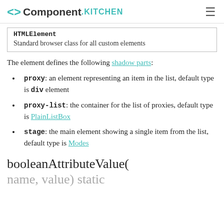<> Component.KITCHEN
| HTMLElement |
| --- |
| Standard browser class for all custom elements |
The element defines the following shadow parts:
proxy: an element representing an item in the list, default type is div element
proxy-list: the container for the list of proxies, default type is PlainListBox
stage: the main element showing a single item from the list, default type is Modes
booleanAttributeValue(name, value) static